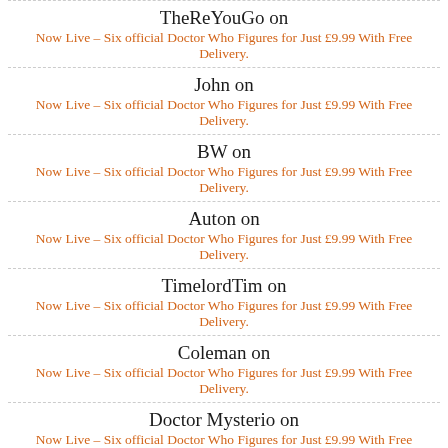TheReYouGo on
Now Live – Six official Doctor Who Figures for Just £9.99 With Free Delivery.
John on
Now Live – Six official Doctor Who Figures for Just £9.99 With Free Delivery.
BW on
Now Live – Six official Doctor Who Figures for Just £9.99 With Free Delivery.
Auton on
Now Live – Six official Doctor Who Figures for Just £9.99 With Free Delivery.
TimelordTim on
Now Live – Six official Doctor Who Figures for Just £9.99 With Free Delivery.
Coleman on
Now Live – Six official Doctor Who Figures for Just £9.99 With Free Delivery.
Doctor Mysterio on
Now Live – Six official Doctor Who Figures for Just £9.99 With Free Delivery.